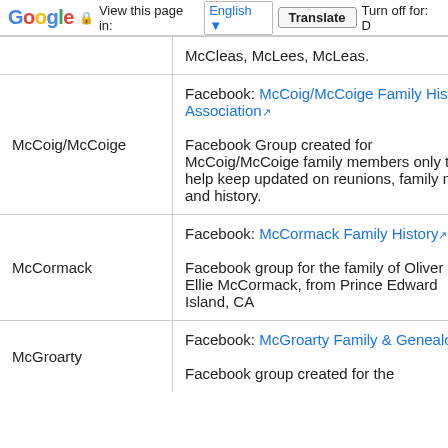Google  View this page in: English  Translate  Turn off for: D
| Family Name | Resource |
| --- | --- |
|  | McCleas, McLees, McLeas. |
| McCoig/McCoige | Facebook: McCoig/McCoige Family History Association
Facebook Group created for McCoig/McCoige family members only to help keep updated on reunions, family news, and history. |
| McCormack | Facebook: McCormack Family History
Facebook group for the family of Oliver & Ellie McCormack, from Prince Edward Island, CA |
| McGroarty | Facebook: McGroarty Family & Genealogy
Facebook group created for the |